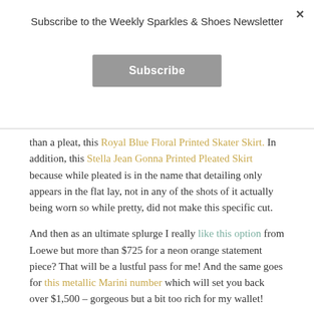×
Subscribe to the Weekly Sparkles & Shoes Newsletter
Subscribe
than a pleat, this Royal Blue Floral Printed Skater Skirt.  In addition, this Stella Jean Gonna Printed Pleated Skirt because while pleated is in the name that detailing only appears in the flat lay, not in any of the shots of it actually being worn so while pretty, did not make this specific cut.
And then as an ultimate splurge I really like this option from Loewe but more than $725 for a neon orange statement piece?  That will be a lustful pass for me!  And the same goes for this metallic Marini number which will set you back over $1,500 – gorgeous but a bit too rich for my wallet!